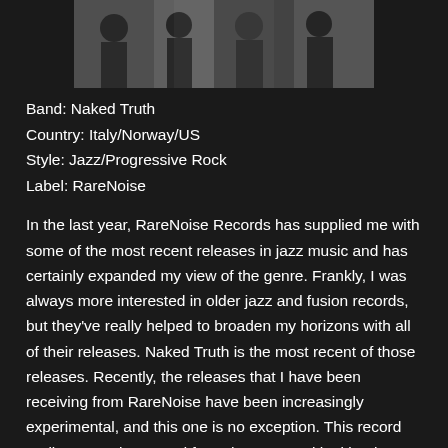[Figure (photo): Black and white photograph of the band Naked Truth, showing multiple musicians]
Band: Naked Truth
Country: Italy/Norway/US
Style: Jazz/Progressive Rock
Label: RareNoise
In the last year, RareNoise Records has supplied me with some of the most recent releases in jazz music and has certainly expanded my view of the genre. Frankly, I was always more interested in older jazz and fusion records, but they've really helped to broaden my horizons with all of their releases. Naked Truth is the most recent of those releases. Recently, the releases that I have been receiving from RareNoise have been increasingly experimental, and this one is no exception. This record really got me interested from the get-go with skittering electronic effects and some nice soloing from each player in the band. The saxophone was melodic and spacey while the drums were energetic but very controlled. The band go between playing straight-up lounge styled jazz and more avant-garde and progressive fusion, which were the parts that really got me interested